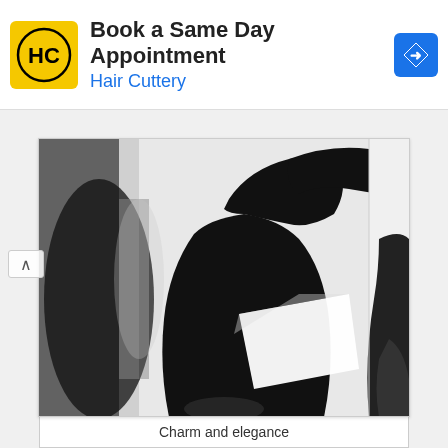[Figure (infographic): Hair Cuttery advertisement banner. Yellow HC logo on the left, title text 'Book a Same Day Appointment' and brand name 'Hair Cuttery' in blue, blue diamond arrow icon on the right.]
[Figure (photo): Black and white photograph showing silhouettes of elegantly dressed figures, one prominently in the center holding what appears to be a white envelope or paper, wearing a full skirt. High contrast artistic fashion photography.]
Charm and elegance